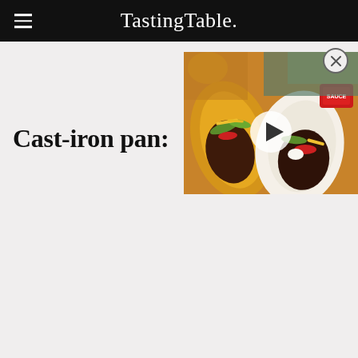TastingTable.
[Figure (screenshot): Video thumbnail showing tacos and burritos with a play button overlay]
Cast-iron pan: